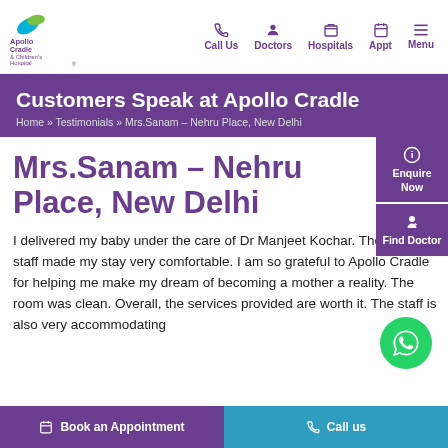[Figure (logo): Apollo Cradle & Children's Hospital logo with bird icon]
Call Us  Doctors  Hospitals  Appt  Menu
Customers Speak at Apollo Cradle
Home » Testimonials » Mrs.Sanam – Nehru Place, New Delhi
Mrs.Sanam – Nehru Place, New Delhi
I delivered my baby under the care of Dr Manjeet Kochar. The nursing staff made my stay very comfortable. I am so grateful to Apollo Cradle for helping me make my dream of becoming a mother a reality. The room was clean. Overall, the services provided are worth it. The staff is also very accommodating
Book an Appointment   Call us